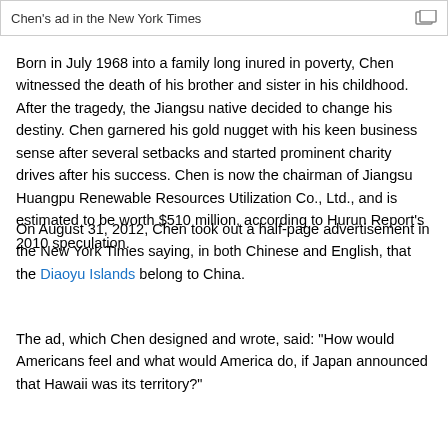Chen's ad in the New York Times
Born in July 1968 into a family long inured in poverty, Chen witnessed the death of his brother and sister in his childhood. After the tragedy, the Jiangsu native decided to change his destiny. Chen garnered his gold nugget with his keen business sense after several setbacks and started prominent charity drives after his success. Chen is now the chairman of Jiangsu Huangpu Renewable Resources Utilization Co., Ltd., and is estimated to be worth $510 million, according to Hurun Report's 2010 speculation.
On August 31, 2012, Chen took out a half-page advertisement in the New York Times saying, in both Chinese and English, that the Diaoyu Islands belong to China.
The ad, which Chen designed and wrote, said: "How would Americans feel and what would America do, if Japan announced that Hawaii was its territory?"